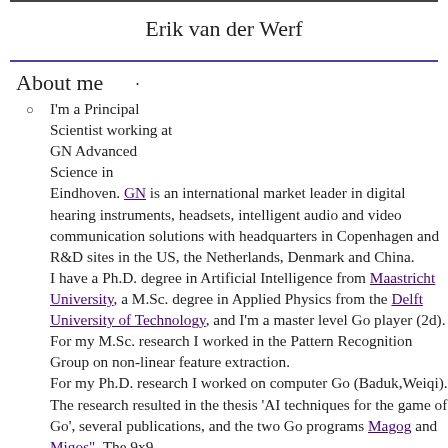Erik van der Werf
About me
I'm a Principal Scientist working at GN Advanced Science in Eindhoven. GN is an international market leader in digital hearing instruments, headsets, intelligent audio and video communication solutions with headquarters in Copenhagen and R&D sites in the US, the Netherlands, Denmark and China. I have a Ph.D. degree in Artificial Intelligence from Maastricht University, a M.Sc. degree in Applied Physics from the Delft University of Technology, and I'm a master level Go player (2d). For my M.Sc. research I worked in the Pattern Recognition Group on non-linear feature extraction. For my Ph.D. research I worked on computer Go (Baduk,Weiqi). The research resulted in the thesis 'AI techniques for the game of Go', several publications, and the two Go programs Magog and Migos". The 9x9